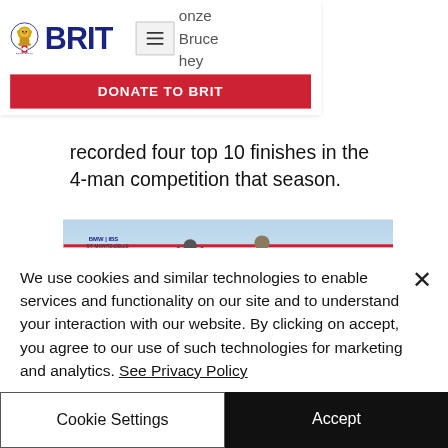[Figure (logo): BRIT charity logo with lion crest and BRIT text in dark blue, with hamburger menu button and red DONATE TO BRIT button]
onze Bruce hey recorded four top 10 finishes in the 4-man competition that season.
[Figure (photo): Athletes on a podium at BMW IBSF bobsled event in St. Moritz, celebrating with raised arms, LIQUI MOLY and other sponsor banners visible]
We use cookies and similar technologies to enable services and functionality on our site and to understand your interaction with our website. By clicking on accept, you agree to our use of such technologies for marketing and analytics. See Privacy Policy
Cookie Settings
Accept